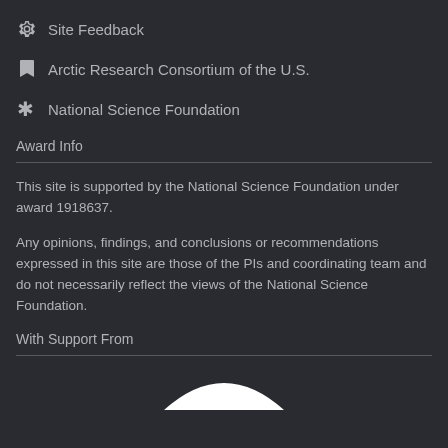⚙ Site Feedback
🔖 Arctic Research Consortium of the U.S.
❊ National Science Foundation
Award Info
This site is supported by the National Science Foundation under award 1918637.
Any opinions, findings, and conclusions or recommendations expressed in this site are those of the PIs and coordinating team and do not necessarily reflect the views of the National Science Foundation.
With Support From
[Figure (logo): Partial white logo/arc shape at bottom of page]